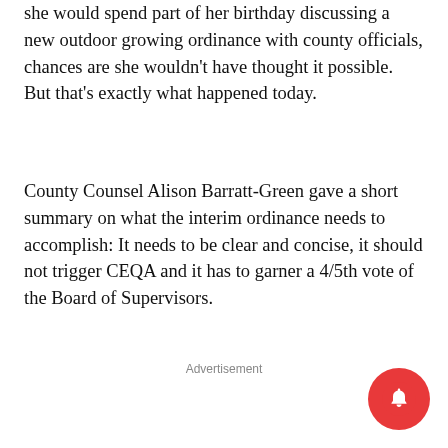she would spend part of her birthday discussing a new outdoor growing ordinance with county officials, chances are she wouldn't have thought it possible. But that's exactly what happened today.
County Counsel Alison Barratt-Green gave a short summary on what the interim ordinance needs to accomplish: It needs to be clear and concise, it should not trigger CEQA and it has to garner a 4/5th vote of the Board of Supervisors.
Advertisement